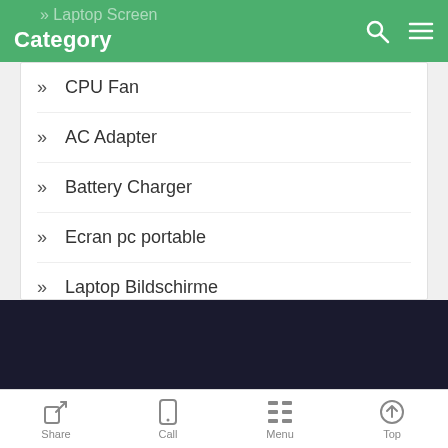Category
CPU Fan
AC Adapter
Battery Charger
Ecran pc portable
Laptop Bildschirme
Touch Screen
Laptop Keybaord
Power Supply
Share   Call   Menu   Top